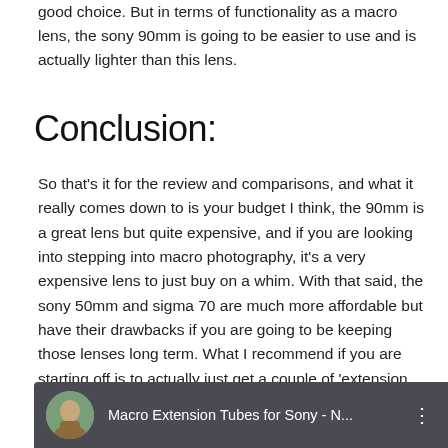good choice. But in terms of functionality as a macro lens, the sony 90mm is going to be easier to use and is actually lighter than this lens.
Conclusion:
So that's it for the review and comparisons, and what it really comes down to is your budget I think, the 90mm is a great lens but quite expensive, and if you are looking into stepping into macro photography, it's a very expensive lens to just buy on a whim. With that said, the sony 50mm and sigma 70 are much more affordable but have their drawbacks if you are going to be keeping those lenses long term. What I recommend if you are starting off is to actually just get a couple of 'extension tubes' for your lenses you already own to practice getting some pseudo-macro shots to see if you like it, and then if you go ahead and choose what lens to buy.
[Figure (screenshot): YouTube video thumbnail showing a man in a circle avatar on a dark background with title 'Macro Extension Tubes for Sony - N...' and a three-dot menu icon]